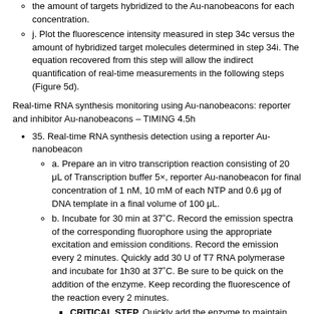the amount of targets hybridized to the Au-nanobeacons for each concentration.
j. Plot the fluorescence intensity measured in step 34c versus the amount of hybridized target molecules determined in step 34i. The equation recovered from this step will allow the indirect quantification of real-time measurements in the following steps (Figure 5d).
Real-time RNA synthesis monitoring using Au-nanobeacons: reporter and inhibitor Au-nanobeacons – TIMING 4.5h
35. Real-time RNA synthesis detection using a reporter Au-nanobeacon
a. Prepare an in vitro transcription reaction consisting of 20 μL of Transcription buffer 5×, reporter Au-nanobeacon for final concentration of 1 nM, 10 mM of each NTP and 0.6 μg of DNA template in a final volume of 100 μL.
b. Incubate for 30 min at 37˚C. Record the emission spectra of the corresponding fluorophore using the appropriate excitation and emission conditions. Record the emission every 2 minutes. Quickly add 30 U of T7 RNA polymerase and incubate for 1h30 at 37˚C. Be sure to be quick on the addition of the enzyme. Keep recording the fluorescence of the reaction every 2 minutes.
CRITICAL STEP. Quickly add the enzyme to maintain the measurement intervals.